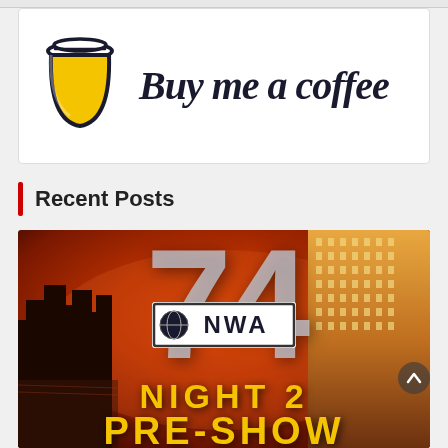[Figure (logo): Buy Me a Coffee logo banner with coffee cup icon and script text 'Buy me a coffee']
Recent Posts
[Figure (photo): NWA 74 Night 2 Pre-Show promotional image with city skyline background, large '74' text, NWA logo badge, and golden 'NIGHT 2 PRE-SHOW' text]